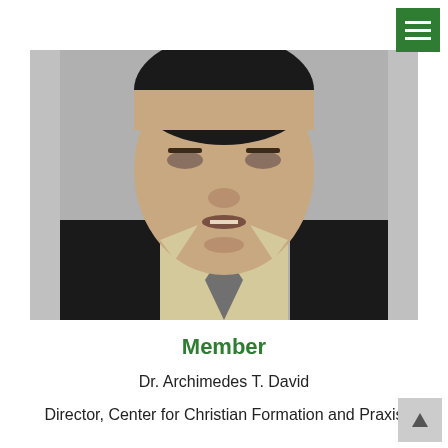[Figure (photo): Headshot photo of Dr. Archimedes T. David, an Asian man in a dark blazer, light beige shirt, and gray tie, against a gray background.]
Member
Dr. Archimedes T. David
Director, Center for Christian Formation and Praxis